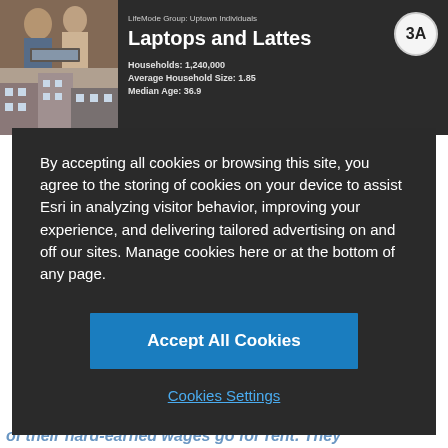[Figure (screenshot): Screenshot of an Esri LifeMode segment profile page showing 'Laptops and Lattes' (Segment 3A) with photos of young adults and urban buildings, a cookie consent overlay dialog, and partial text at the bottom.]
Laptops and Lattes
LifeMode Group: Uptown Individuals
Households: 1,240,000
Average Household Size: 1.85
Median Age: 36.9
By accepting all cookies or browsing this site, you agree to the storing of cookies on your device to assist Esri in analyzing visitor behavior, improving your experience, and delivering tailored advertising on and off our sites. Manage cookies here or at the bottom of any page.
Accept All Cookies
Cookies Settings
of their hard-earned wages go for rent. They